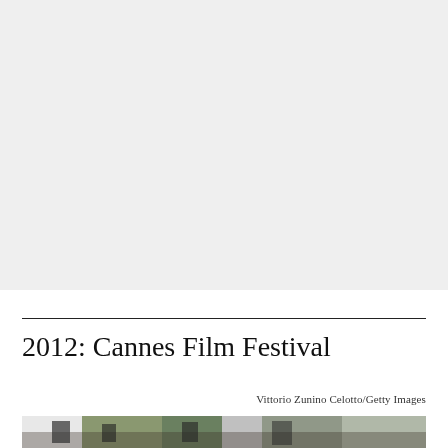[Figure (photo): Large photo placeholder at top of page, light gray background representing a photograph (cropped/not fully visible)]
2012: Cannes Film Festival
Vittorio Zunino Celotto/Getty Images
[Figure (photo): Bottom portion of a photograph showing people at the 2012 Cannes Film Festival, with palm trees and architectural elements visible]